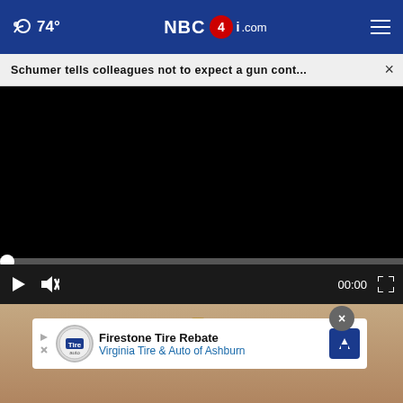74° NBC4i.com
Schumer tells colleagues not to expect a gun cont... ×
[Figure (screenshot): Black video player area with progress bar and playback controls showing 00:00 timestamp]
[Figure (photo): Partial photo of decorative object visible below the video player]
Firestone Tire Rebate Virginia Tire & Auto of Ashburn